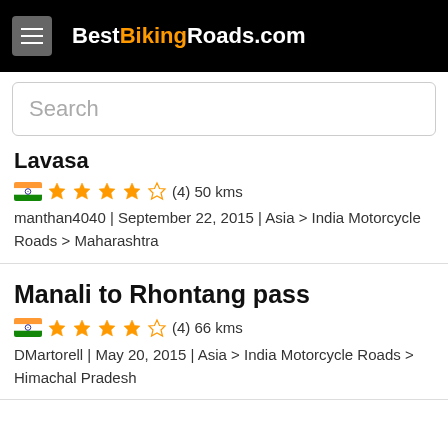BestBikingRoads.com
Search
Lavasa
★★★★☆ (4) 50 kms
manthan4040 | September 22, 2015 | Asia > India Motorcycle Roads > Maharashtra
Manali to Rhontang pass
★★★★☆ (4) 66 kms
DMartorell | May 20, 2015 | Asia > India Motorcycle Roads > Himachal Pradesh